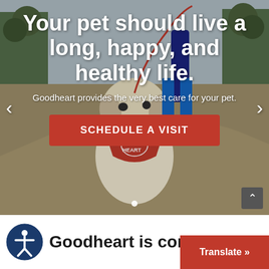[Figure (photo): A large white/cream dog wearing a red 'Good Heart' bandana standing in a park, held on a leash by a person in jeans and a dark jacket. Trees visible in background. Overlaid with white text and a red button.]
Your pet should live a long, happy, and healthy life.
Goodheart provides the very best care for your pet.
SCHEDULE A VISIT
Goodheart is commi
Translate »